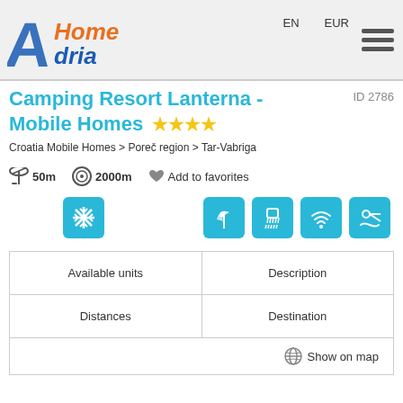[Figure (logo): AHomeAdria logo with orange and blue stylized text]
EN   EUR
Camping Resort Lanterna - Mobile Homes ★★★★  ID 2786
Croatia Mobile Homes > Poreč region > Tar-Vabriga
50m   2000m   Add to favorites
[Figure (infographic): Amenity icons: air conditioning (snowflake), beach, shower/waterfall, wifi, swimming pool]
| Available units | Description |
| --- | --- |
| Distances | Destination |
Show on map